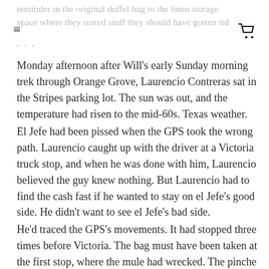reminder in the original duffel bag to the linen storage space where they stored stuff they should have gotten rid
Monday afternoon after Will's early Sunday morning trek through Orange Grove, Laurencio Contreras sat in the Stripes parking lot. The sun was out, and the temperature had risen to the mid-60s. Texas weather.
El Jefe had been pissed when the GPS took the wrong path. Laurencio caught up with the driver at a Victoria truck stop, and when he was done with him, Laurencio believed the guy knew nothing. But Laurencio had to find the cash fast if he wanted to stay on el Jefe's good side. He didn't want to see el Jefe's bad side.
He'd traced the GPS's movements. It had stopped three times before Victoria. The bag must have been taken at the first stop, where the mule had wrecked. The pinche borracho.
Laurencio didn't understand the second stop on an